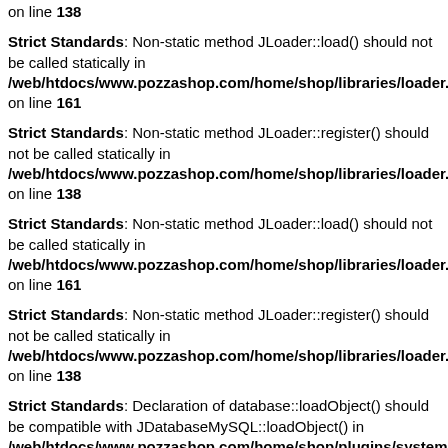on line 138
Strict Standards: Non-static method JLoader::load() should not be called statically in /web/htdocs/www.pozzashop.com/home/shop/libraries/loader.php on line 161
Strict Standards: Non-static method JLoader::register() should not be called statically in /web/htdocs/www.pozzashop.com/home/shop/libraries/loader.php on line 138
Strict Standards: Non-static method JLoader::load() should not be called statically in /web/htdocs/www.pozzashop.com/home/shop/libraries/loader.php on line 161
Strict Standards: Non-static method JLoader::register() should not be called statically in /web/htdocs/www.pozzashop.com/home/shop/libraries/loader.php on line 138
Strict Standards: Declaration of database::loadObject() should be compatible with JDatabaseMySQL::loadObject() in /web/htdocs/www.pozzashop.com/home/shop/plugins/system/lega on line